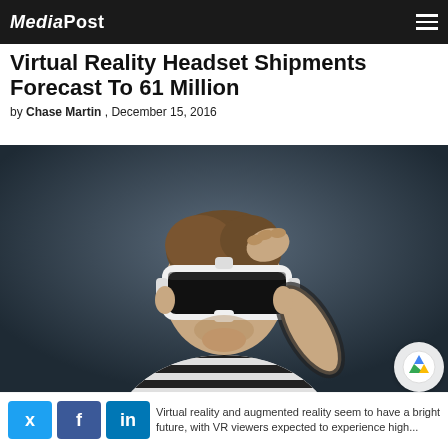MediaPost
Virtual Reality Headset Shipments Forecast To 61 Million
by Chase Martin , December 15, 2016
[Figure (photo): Man wearing white VR headset with black lenses, dressed in striped long-sleeve shirt, holding headset with one hand, against dark grey background]
Virtual reality and augmented reality seem to have a bright future, with VR viewers expected to experience high...